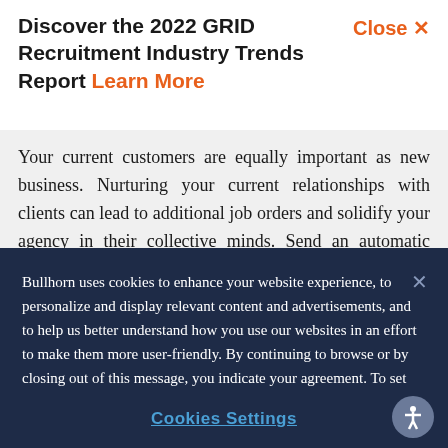Discover the 2022 GRID Recruitment Industry Trends Report Learn More
Your current customers are equally important as new business. Nurturing your current relationships with clients can lead to additional job orders and solidify your agency in their collective minds. Send an automatic email each month to check-in and assess any
Bullhorn uses cookies to enhance your website experience, to personalize and display relevant content and advertisements, and to help us better understand how you use our websites in an effort to make them more user-friendly. By continuing to browse or by closing out of this message, you indicate your agreement. To set your own preferences, click "Cookie Settings" and you can learn more about the cookies we use by reviewing our cookie policy.
Cookies Settings